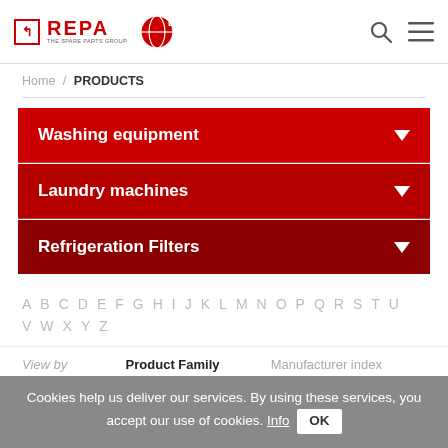REPA - THE SPARE PARTS GROUP | Logo
Home / PRODUCTS
Washing equipment
Laundry machines
Refrigeration Filters
A B C D E F G H I J K L M N O P Q R S T U V W X Y Z
View by   Product Family   Manufacturer index
Cookies help us deliver our services. By using these services, you accept our use of cookies. Info OK